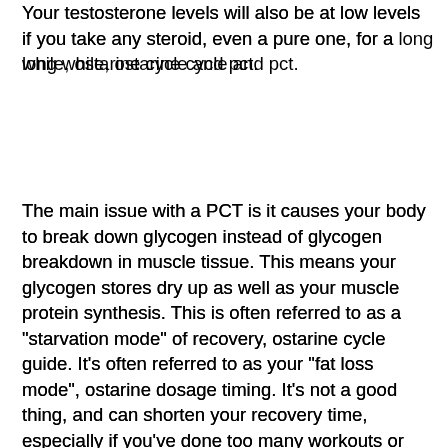Your testosterone levels will also be at low levels if you take any steroid, even a pure one, for a long while, ostarine cycle and pct.
The main issue with a PCT is it causes your body to break down glycogen instead of glycogen breakdown in muscle tissue. This means your glycogen stores dry up as well as your muscle protein synthesis. This is often referred to as a "starvation mode" of recovery, ostarine cycle guide. It's often referred to as your "fat loss mode", ostarine dosage timing. It's not a good thing, and can shorten your recovery time, especially if you've done too many workouts or done it on the same day as your training session.
There is currently no evidence to support the use of a low dose of the GH, androgenic anabolic steroids (ARAs),